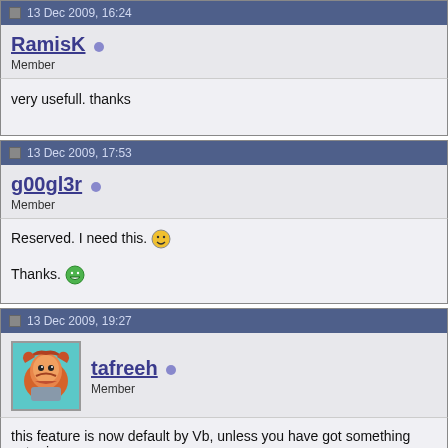13 Dec 2009, 16:24
RamisK Member
very usefull. thanks
13 Dec 2009, 17:53
g00gl3r Member
Reserved. I need this. :) Thanks. :D
13 Dec 2009, 19:27
tafreeh Member
this feature is now default by Vb, unless you have got something extra i
Vb Forum